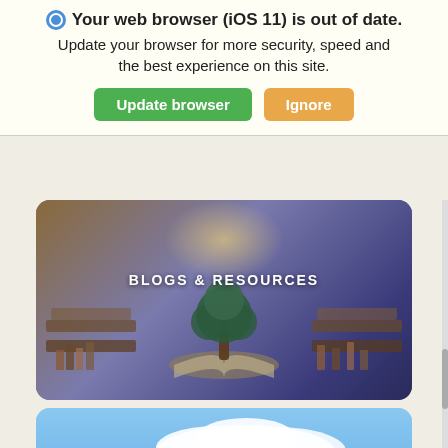Your web browser (iOS 11) is out of date. Update your browser for more security, speed and the best experience on this site.
Update browser
Ignore
[Figure (photo): Blogs & Resources banner with a stylized tree growing from an open book surrounded by stacked books, with a warm glow above, all overlaid with a blue-purple tint]
BLOGS & RESOURCES
[Figure (photo): Committees & Projects banner showing a mountain valley landscape with green forested slopes, rocky peaks, and blue sky with white clouds]
COMMITTEES & PROJECTS